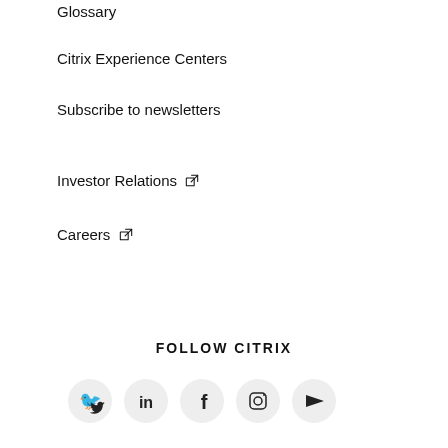Glossary
Citrix Experience Centers
Subscribe to newsletters
Investor Relations ↗
Careers ↗
FOLLOW CITRIX
[Figure (infographic): Five social media icons in circles: Twitter, LinkedIn, Facebook, Instagram, YouTube]